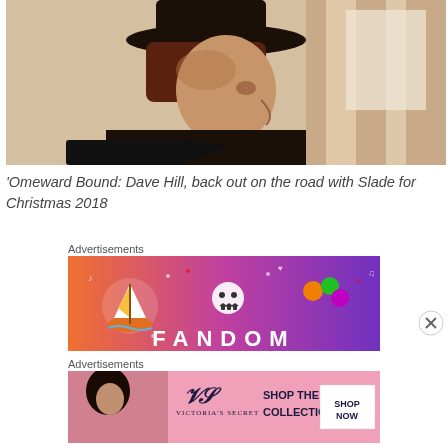[Figure (photo): An older man wearing a wide-brimmed black hat and black jacket with white collar, photographed in profile against a light background with curtains]
'Omeward Bound: Dave Hill, back out on the road with Slade for Christmas 2018
Advertisements
[Figure (illustration): Fandom advertisement with colorful gradient background (orange to purple) featuring illustrations of a sailboat, skull, gems, and the word FANDOM in large letters]
Advertisements
[Figure (illustration): Victoria's Secret advertisement with pink background showing a woman and text 'SHOP THE COLLECTION' with a 'SHOP NOW' button and the Victoria's Secret logo]